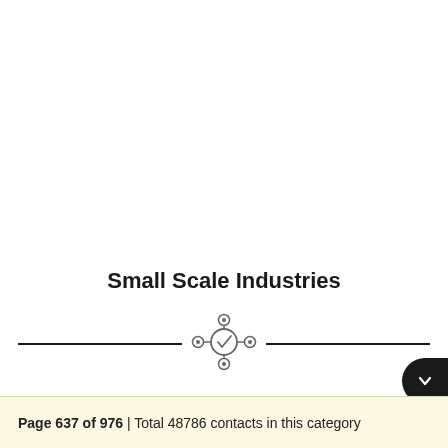Small Scale Industries
[Figure (illustration): Network/hub icon with a central circle containing a checkmark, connected to four surrounding smaller circles, flanked by horizontal divider lines on both sides]
Page 637 of 976 | Total 48786 contacts in this category